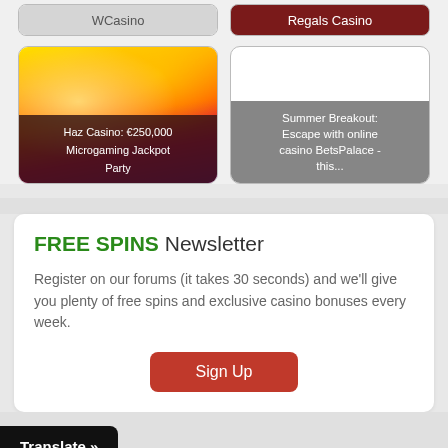[Figure (screenshot): Top row of two casino card buttons: WCasino and Regals Casino]
[Figure (photo): Colorful lion artwork card for Haz Casino: €250,000 Microgaming Jackpot Party]
[Figure (screenshot): Gray card overlay: Summer Breakout: Escape with online casino BetsPalace - this...]
FREE SPINS Newsletter
Register on our forums (it takes 30 seconds) and we'll give you plenty of free spins and exclusive casino bonuses every week.
Sign Up
Translate »